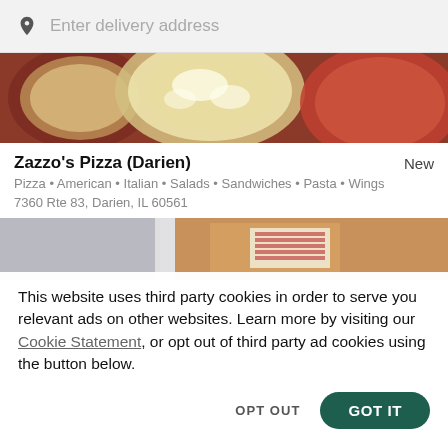Enter delivery address
[Figure (photo): Top-down view of pizzas including a white cheese pizza and red sauce pizza]
Zazzo's Pizza (Darien)   New
Pizza • American • Italian • Salads • Sandwiches • Pasta • Wings
7360 Rte 83, Darien, IL 60561
[Figure (photo): Partial view of a brown cardboard box with a label, gray container nearby]
This website uses third party cookies in order to serve you relevant ads on other websites. Learn more by visiting our Cookie Statement, or opt out of third party ad cookies using the button below.